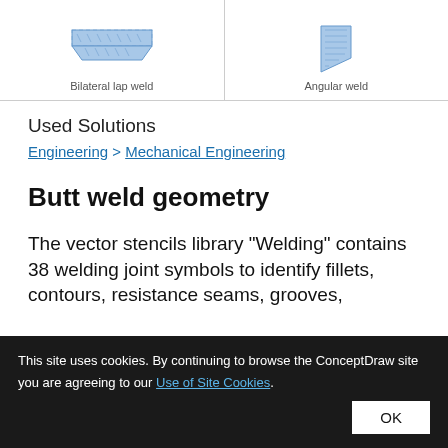[Figure (illustration): Two weld diagram illustrations side by side: left shows 'Bilateral lap weld' and right shows 'Angular weld', both depicted as blue hatched cross-section diagrams.]
Used Solutions
Engineering > Mechanical Engineering
Butt weld geometry
The vector stencils library "Welding" contains 38 welding joint symbols to identify fillets, contours, resistance seams, grooves,
This site uses cookies. By continuing to browse the ConceptDraw site you are agreeing to our Use of Site Cookies. OK